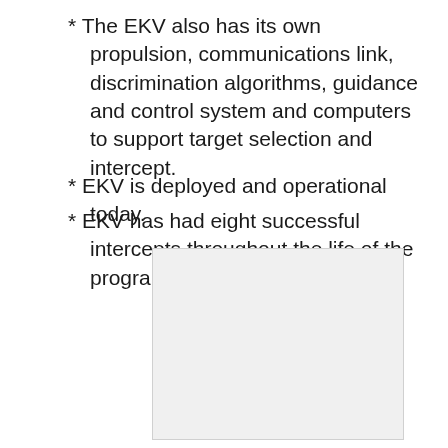* The EKV also has its own propulsion, communications link, discrimination algorithms, guidance and control system and computers to support target selection and intercept.
* EKV is deployed and operational today.
* EKV has had eight successful intercepts throughout the life of the program.
[Figure (other): Light gray rectangle placeholder image area]